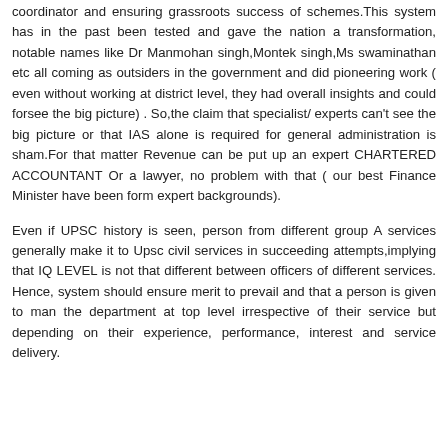coordinator and ensuring grassroots success of schemes.This system has in the past been tested and gave the nation a transformation, notable names like Dr Manmohan singh,Montek singh,Ms swaminathan etc all coming as outsiders in the government and did pioneering work ( even without working at district level, they had overall insights and could forsee the big picture) . So,the claim that specialist/ experts can't see the big picture or that IAS alone is required for general administration is sham.For that matter Revenue can be put up an expert CHARTERED ACCOUNTANT Or a lawyer, no problem with that ( our best Finance Minister have been form expert backgrounds).
Even if UPSC history is seen, person from different group A services generally make it to Upsc civil services in succeeding attempts,implying that IQ LEVEL is not that different between officers of different services. Hence, system should ensure merit to prevail and that a person is given to man the department at top level irrespective of their service but depending on their experience, performance, interest and service delivery.